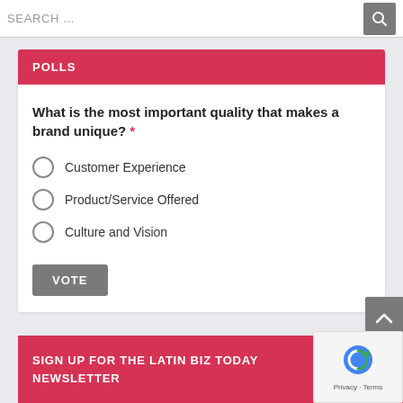SEARCH ...
POLLS
What is the most important quality that makes a brand unique? *
Customer Experience
Product/Service Offered
Culture and Vision
VOTE
SIGN UP FOR THE LATIN BIZ TODAY NEWSLETTER